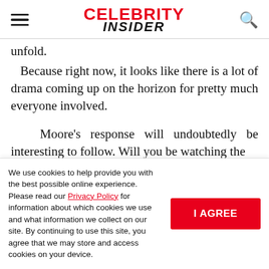CELEBRITY INSIDER
unfold.
Because right now, it looks like there is a lot of drama coming up on the horizon for pretty much everyone involved.
Moore's response will undoubtedly be interesting to follow. Will you be watching the new season of the Bravo show?
We use cookies to help provide you with the best possible online experience. Please read our Privacy Policy for information about which cookies we use and what information we collect on our site. By continuing to use this site, you agree that we may store and access cookies on your device.